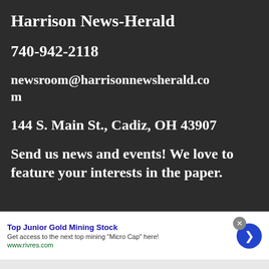Harrison News-Herald
740-942-2118
newsroom@harrisonnewsherald.com
144 S. Main St., Cadiz, OH 43907
Send us news and events! We love to feature your interests in the paper.
[Figure (other): Advertisement banner for Top Junior Gold Mining Stock with blue circular arrow button, close button, title in blue bold text, description text, and www.rivres.com URL in green]